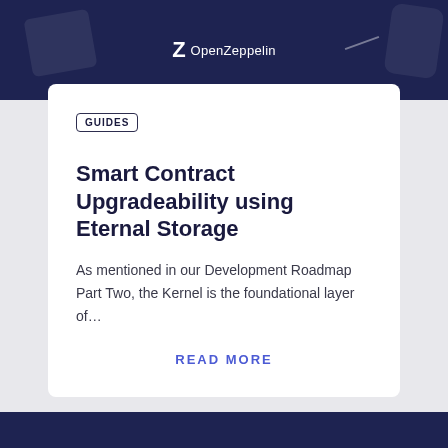[Figure (logo): OpenZeppelin logo on dark navy banner with decorative shapes]
GUIDES
Smart Contract Upgradeability using Eternal Storage
As mentioned in our Development Roadmap Part Two, the Kernel is the foundational layer of…
READ MORE